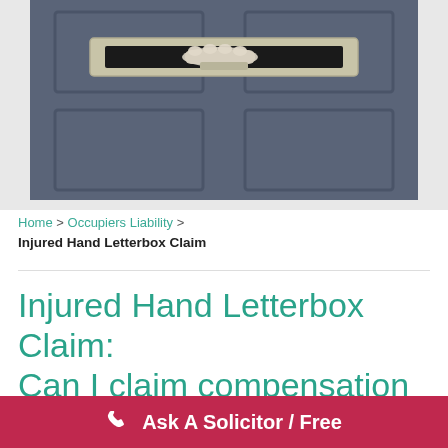[Figure (photo): Close-up photo of a dark grey/navy door with a silver metal letterbox/mail slot, showing a hand or mail being pushed through the slot.]
Home > Occupiers Liability > Injured Hand Letterbox Claim
Injured Hand Letterbox Claim: Can I claim compensation for
Ask A Solicitor / Free